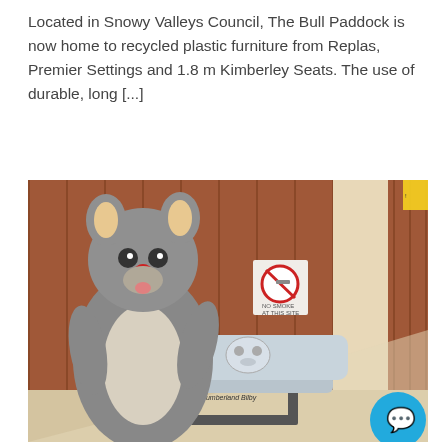Located in Snowy Valleys Council, The Bull Paddock is now home to recycled plastic furniture from Replas, Premier Settings and 1.8 m Kimberley Seats. The use of durable, long [...]
[Figure (photo): A person in a possum mascot costume (grey furry suit with lighter belly, big ears, red nose, pink tongue) standing next to a grey recycled-plastic bench seat labelled 'Paint Cumberland Bilby'. The bench backrest features a possum/bilby face design. Background shows a brown timber-panel wall with a no-smoking sign. A teal chat-bubble icon appears in the bottom right corner.]